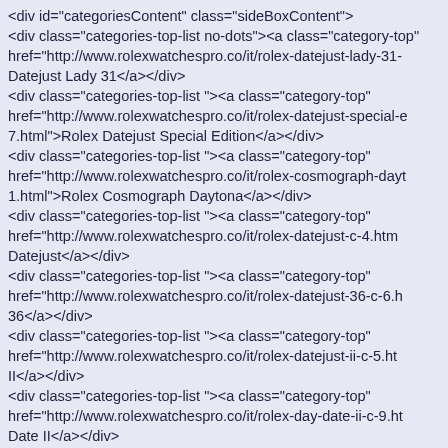<div id="categoriesContent" class="sideBoxContent">
<div class="categories-top-list no-dots"><a class="category-top" href="http://www.rolexwatchespro.co/it/rolex-datejust-lady-31-..."Datejust Lady 31</a></div>
<div class="categories-top-list "><a class="category-top" href="http://www.rolexwatchespro.co/it/rolex-datejust-special-edition-c-7.html">Rolex Datejust Special Edition</a></div>
<div class="categories-top-list "><a class="category-top" href="http://www.rolexwatchespro.co/it/rolex-cosmograph-daytona-c-1.html">Rolex Cosmograph Daytona</a></div>
<div class="categories-top-list "><a class="category-top" href="http://www.rolexwatchespro.co/it/rolex-datejust-c-4.html">Datejust</a></div>
<div class="categories-top-list "><a class="category-top" href="http://www.rolexwatchespro.co/it/rolex-datejust-36-c-6.html">36</a></div>
<div class="categories-top-list "><a class="category-top" href="http://www.rolexwatchespro.co/it/rolex-datejust-ii-c-5.html">II</a></div>
<div class="categories-top-list "><a class="category-top" href="http://www.rolexwatchespro.co/it/rolex-day-date-ii-c-9.html">Date II</a></div>
<div class="categories-top-list "><a class="category-top" href="http://www.rolexwatchespro.co/it/rolex-day-date-c-8.html">Date</a></div>